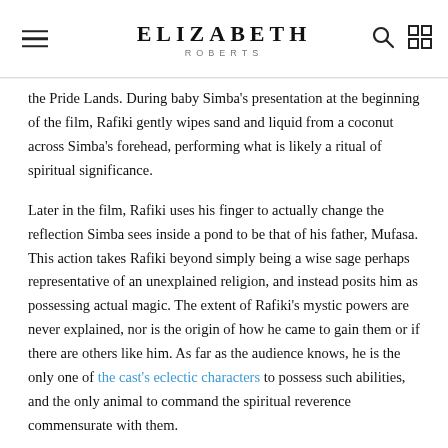ELIZABETH ROBERTS
the Pride Lands. During baby Simba's presentation at the beginning of the film, Rafiki gently wipes sand and liquid from a coconut across Simba's forehead, performing what is likely a ritual of spiritual significance.
Later in the film, Rafiki uses his finger to actually change the reflection Simba sees inside a pond to be that of his father, Mufasa. This action takes Rafiki beyond simply being a wise sage perhaps representative of an unexplained religion, and instead posits him as possessing actual magic. The extent of Rafiki's mystic powers are never explained, nor is the origin of how he came to gain them or if there are others like him. As far as the audience knows, he is the only one of the cast's eclectic characters to possess such abilities, and the only animal to command the spiritual reverence commensurate with them.
How does Simba